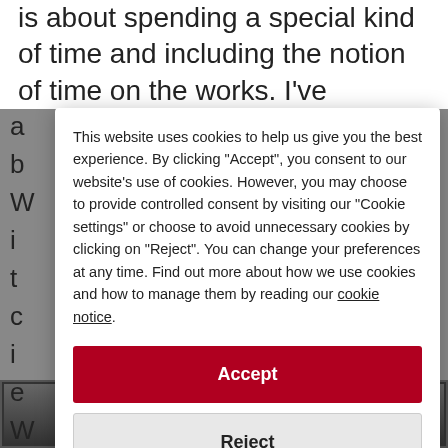is about spending a special kind of time and including the notion of time on the works. I've
This website uses cookies to help us give you the best experience. By clicking "Accept", you consent to our website's use of cookies. However, you may choose to provide controlled consent by visiting our "Cookie settings" or choose to avoid unnecessary cookies by clicking on "Reject". You can change your preferences at any time. Find out more about how we use cookies and how to manage them by reading our cookie notice.
Accept
Reject
Cookie settings
[Figure (photo): Dark background image partially visible at the bottom of the page]